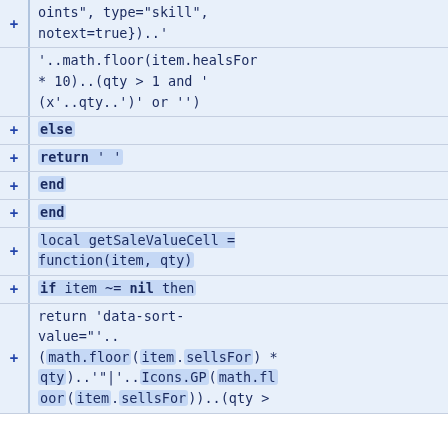oints", type="skill", notext=true})..'
'..math.floor(item.healsFor * 10)..(qty > 1 and '(x'..qty..')' or '')
else
return ' '
end
end
local getSaleValueCell = function(item, qty)
if item ~= nil then
return 'data-sort-value="'.. (math.floor(item.sellsFor) * qty)..'"'..Icons.GP(math.floor(item.sellsFor))..(qty > 1 and '...'